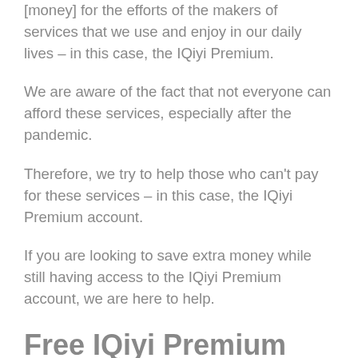[money] for the efforts of the makers of services that we use and enjoy in our daily lives – in this case, the IQiyi Premium.
We are aware of the fact that not everyone can afford these services, especially after the pandemic.
Therefore, we try to help those who can't pay for these services – in this case, the IQiyi Premium account.
If you are looking to save extra money while still having access to the IQiyi Premium account, we are here to help.
Free IQiyi Premium Account and Password: